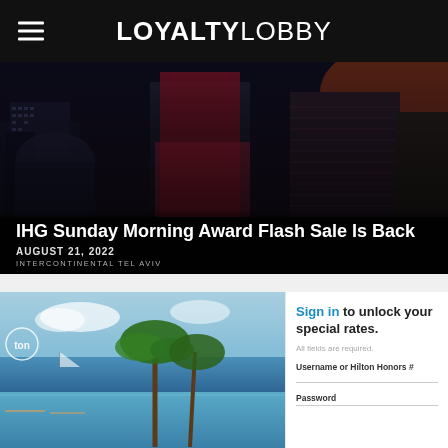LOYALTYLOBBY
[Figure (photo): Nighttime cityscape of a hotel district with tall illuminated buildings including one with red/pink lighting, labeled as InterContinental Tel Aviv]
IHG Sunday Morning Award Flash Sale Is Back
AUGUST 21, 2022
INTERCONTINENTAL TEL AVIV
[Figure (photo): Tropical resort pool with palm trees overlooking the sea, partially overlaid by a Hilton sign-in form]
Sign in to unlock your special rates. All fields are required. Username or Hilton Honors # Password